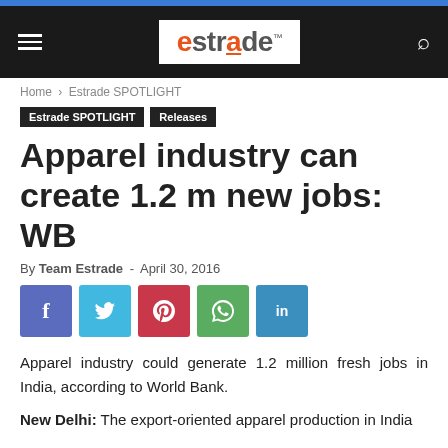estrade
Home › Estrade SPOTLIGHT
Estrade SPOTLIGHT  Releases
Apparel industry can create 1.2 m new jobs: WB
By Team Estrade - April 30, 2016
[Figure (other): Social sharing buttons: Facebook, Twitter, Pinterest, WhatsApp, LinkedIn]
Apparel industry could generate 1.2 million fresh jobs in India, according to World Bank.
New Delhi: The export-oriented apparel production in India